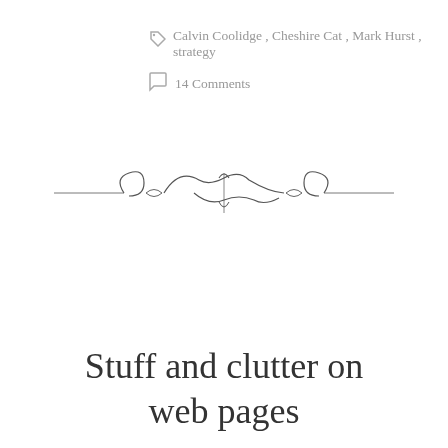Calvin Coolidge, Cheshire Cat, Mark Hurst, strategy
14 Comments
[Figure (illustration): Decorative ornamental divider with scrollwork and bow-like flourish in dark gray]
Stuff and clutter on web pages